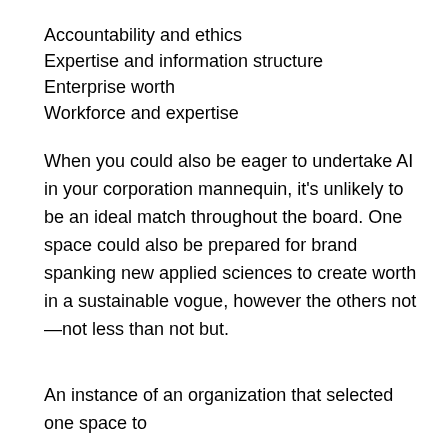Accountability and ethics
Expertise and information structure
Enterprise worth
Workforce and expertise
When you could also be eager to undertake AI in your corporation mannequin, it's unlikely to be an ideal match throughout the board. One space could also be prepared for brand spanking new applied sciences to create worth in a sustainable vogue, however the others not—not less than not but.
An instance of an organization that selected one space to